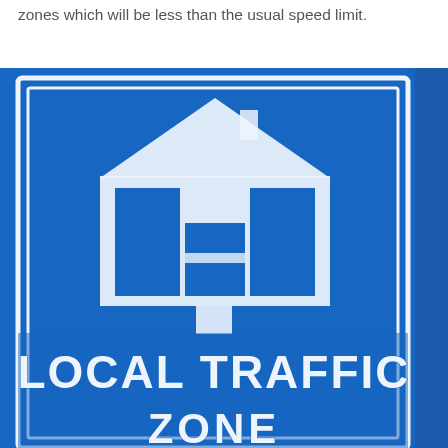zones which will be less than the usual speed limit.
[Figure (photo): A blue rectangular road sign reading 'LOCAL TRAFFIC ZONE' with a white house/building icon above the text, shown close-up and slightly blurred. The sign has a white border and the text is in large white capital letters.]